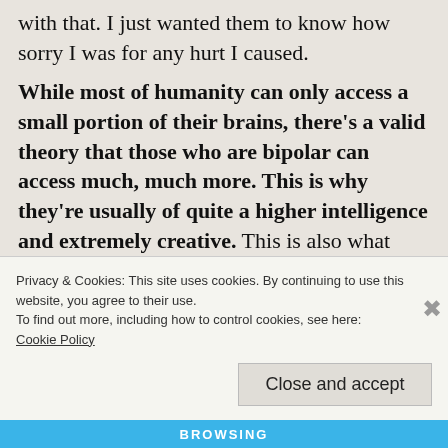with that. I just wanted them to know how sorry I was for any hurt I caused.
While most of humanity can only access a small portion of their brains, there’s a valid theory that those who are bipolar can access much, much more. This is why they’re usually of quite a higher intelligence and extremely creative. This is also what causes the racing thoughts…and the irritation and impatience with others for not being able to keep up. In my
Privacy & Cookies: This site uses cookies. By continuing to use this website, you agree to their use.
To find out more, including how to control cookies, see here:
Cookie Policy
Close and accept